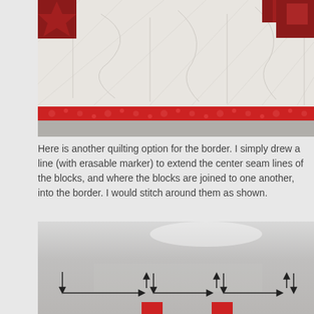[Figure (photo): Close-up photograph of a red and white quilt showing quilting stitches on the white border area, with a red floral fabric border strip and red patterned corner blocks visible.]
Here is another quilting option for the border. I simply drew a line (with erasable marker) to extend the center seam lines of the blocks, and where the blocks are joined to one another, into the border. I would stitch around them as shown.
[Figure (photo): Photograph of a white quilting border with hand-drawn arrows indicating a stitching path pattern, showing directional arrows arranged in a continuous path along the border with small rectangular markers.]